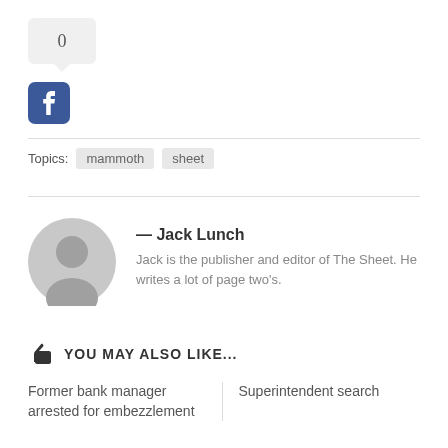[Figure (infographic): Share count bubble showing 0]
[Figure (logo): Facebook social media icon, blue rounded square with white f]
Topics: mammoth sheet
— Jack Lunch
Jack is the publisher and editor of The Sheet. He writes a lot of page two's.
YOU MAY ALSO LIKE...
Former bank manager arrested for embezzlement
Superintendent search